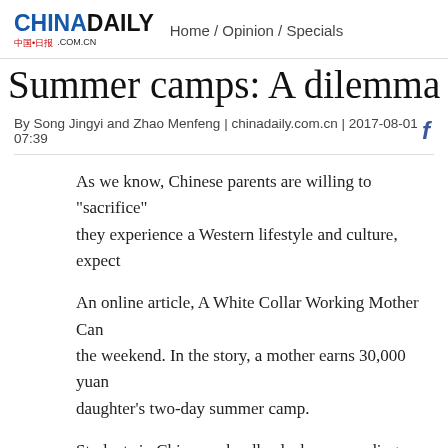CHINADAILY.COM.CN | Home / Opinion / Specials
Summer camps: A dilemma fo
By Song Jingyi and Zhao Menfeng | chinadaily.com.cn | 2017-08-01 07:39
As we know, Chinese parents are willing to "sacrifice" they experience a Western lifestyle and culture, expect
An online article, A White Collar Working Mother Can the weekend. In the story, a mother earns 30,000 yuan daughter's two-day summer camp.
Students in China are hardly slackers, spending an ave school year. And while parents have long sent their chi now the growing trend is for them to attend top-notch